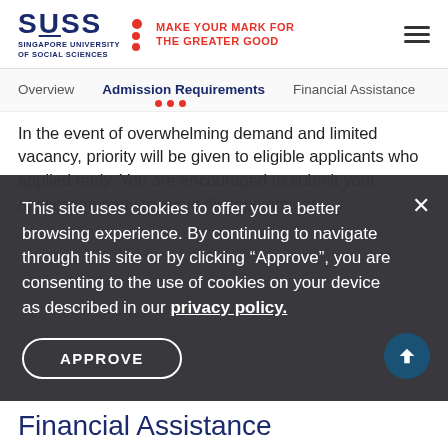[Figure (logo): SUSS - Singapore University of Social Sciences logo with red dots and tagline MAKE YOUR MARK FOR THE GREATER GOOD]
Overview  Admission Requirements  Financial Assistance
In the event of overwhelming demand and limited vacancy, priority will be given to eligible applicants who applied early. You are encouraged to submit your application early to avoid disappointment.
This site uses cookies to offer you a better browsing experience. By continuing to navigate through this site or by clicking "Approve", you are consenting to the use of cookies on your device as described in our privacy policy.
APPROVE
Financial Assistance